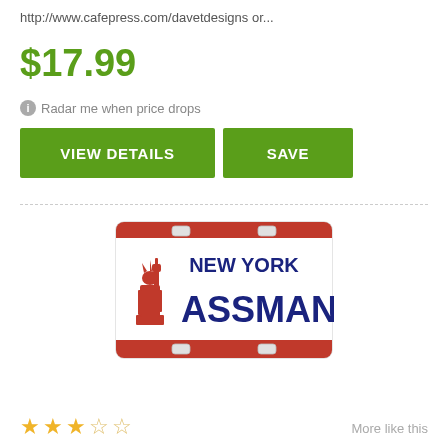http://www.cafepress.com/davetdesigns or...
$17.99
ⓘ Radar me when price drops
VIEW DETAILS | SAVE
[Figure (photo): New York license plate novelty item reading 'ASSMAN' with Statue of Liberty graphic]
★★★☆☆  More like this